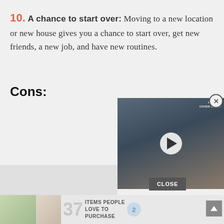10. A chance to start over: Moving to a new location or new house gives you a chance to start over, get new friends, a new job, and have new routines.
Cons:
[Figure (screenshot): Video player overlay showing a man in a gray t-shirt and backwards cap, with a play button in the center and a logo in the top right corner reading 'HARDER COVER STORY'. A close (X) button appears in the top right corner of the video overlay, and a gray CLOSE button appears at the bottom right.]
[Figure (infographic): Advertisement banner at the bottom of the page showing images and text reading '37 ITEMS PEOPLE LOVE TO PURCHASE']